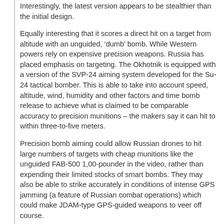Interestingly, the latest version appears to be stealthier than the initial design.
Equally interesting that it scores a direct hit on a target from altitude with an unguided, ‘dumb’ bomb. While Western powers rely on expensive precision weapons. Russia has placed emphasis on targeting. The Okhotnik is equipped with a version of the SVP-24 aiming system developed for the Su-24 tactical bomber. This is able to take into account speed, altitude, wind, humidity and other factors and time bomb release to achieve what is claimed to be comparable accuracy to precision munitions – the makers say it can hit to within three-to-five meters.
Precision bomb aiming could allow Russian drones to hit large numbers of targets with cheap munitions like the unguided FAB-500 1,00-pounder in the video, rather than expending their limited stocks of smart bombs. They may also be able to strike accurately in conditions of intense GPS jamming (a feature of Russian combat operations) which could make JDAM-type GPS-guided weapons to veer off course.
I’ve mentioned Russia’s Special Computing Subsystem 24 before: